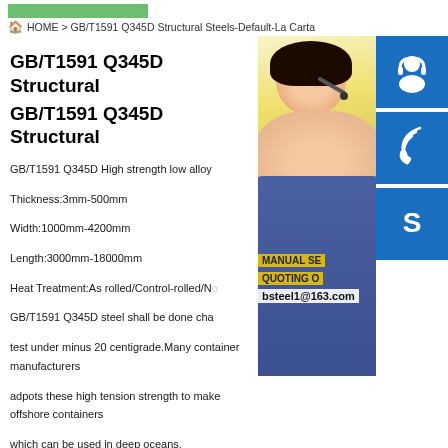HOME > GB/T1591 Q345D Structural Steels-Default-La Carta
GB/T1591 Q345D Structural
GB/T1591 Q345D Structural
GB/T1591 Q345D High strength low alloy
Thickness:3mm-500mm
Width:1000mm-4200mm
Length:3000mm-18000mm
Heat Treatment:As rolled/Control-rolled/No
GB/T1591 Q345D steel shall be done cha
test under minus 20 centigrade.Many container manufacturers adpots these high tension strength to make offshore containers which can be used in deep oceans.
[Figure (photo): Customer service representative woman with headset, with blue icons for support/phone/Skype on right side, and contact overlay showing MANUAL SE, QUOTING O, bsteel1@163.com]
Technical Requirements & Additional Services:
Low temperature impacting test
Cutting and welding as per end user s demands